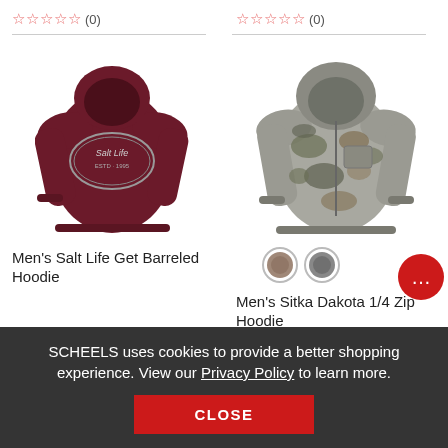☆☆☆☆☆ (0)
☆☆☆☆☆ (0)
[Figure (photo): Back view of a maroon Salt Life Get Barreled hoodie with logo on back]
[Figure (photo): Front view of a camouflage Sitka Dakota 1/4 Zip Hoodie]
Men's Salt Life Get Barreled Hoodie
Men's Sitka Dakota 1/4 Zip Hoodie
SCHEELS uses cookies to provide a better shopping experience. View our Privacy Policy to learn more.
CLOSE